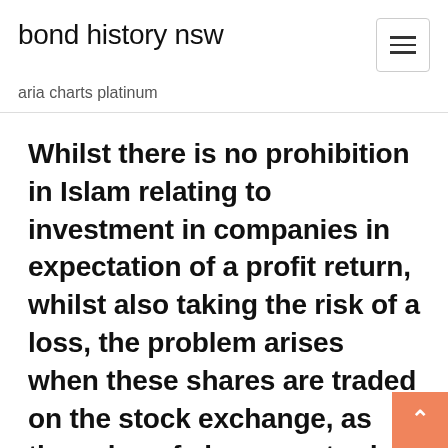bond history nsw
aria charts platinum
Whilst there is no prohibition in Islam relating to investment in companies in expectation of a profit return, whilst also taking the risk of a loss, the problem arises when these shares are traded on the stock exchange, as the value of shares so traded does no longer reflect the actual worth of the company and how well it is doing in real terms, but is dependent on